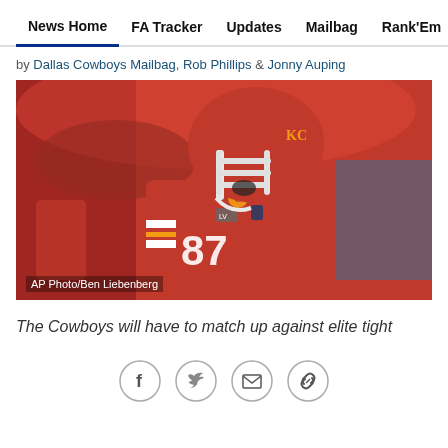News Home  FA Tracker  Updates  Mailbag  Rank'Em  Cowbuz
by Dallas Cowboys Mailbag, Rob Phillips & Jonny Auping
[Figure (photo): Kansas City Chiefs player #87 in red uniform and helmet, wearing a captain's patch and Super Bowl LV patch, yelling on field. AP Photo/Ben Liebenberg]
The Cowboys will have to match up against elite tight
[Figure (other): Social sharing icons: Facebook, Twitter, Email, Link]